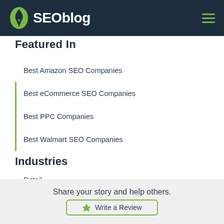SEOblog
Featured In
Best Amazon SEO Companies
Best eCommerce SEO Companies
Best PPC Companies
Best Walmart SEO Companies
Industries
Retail
Share your story and help others.
Write a Review